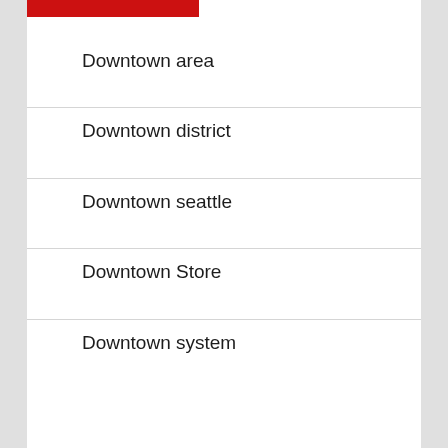Downtown area
Downtown district
Downtown seattle
Downtown Store
Downtown system
business district  business owners
city center  city council